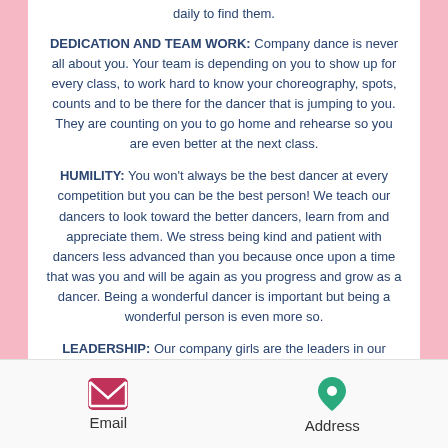daily to find them.
DEDICATION AND TEAM WORK: Company dance is never all about you. Your team is depending on you to show up for every class, to work hard to know your choreography, spots, counts and to be there for the dancer that is jumping to you. They are counting on you to go home and rehearse so you are even better at the next class.
HUMILITY: You won't always be the best dancer at every competition but you can be the best person! We teach our dancers to look toward the better dancers, learn from and appreciate them. We stress being kind and patient with dancers less advanced than you because once upon a time that was you and will be again as you progress and grow as a dancer. Being a wonderful dancer is important but being a wonderful person is even more so.
LEADERSHIP: Our company girls are the leaders in our studio and everywhere they go! We ask them to assist classes, demonstrate choreography, take a new student under their wing! MSSoD dancers have gone on to be captains, lieutenants and members of the Coppell Lariettes and Silver Stars, Kilgore Rangerettes, Texas A&M, Arkansas, Texas and Creighton pom squads. Even Dallas Cowboy Cheerleaders and Miss Texas! They are student ambassadors, NHS, NJHS, choir, band, orchestra and
Email    Address